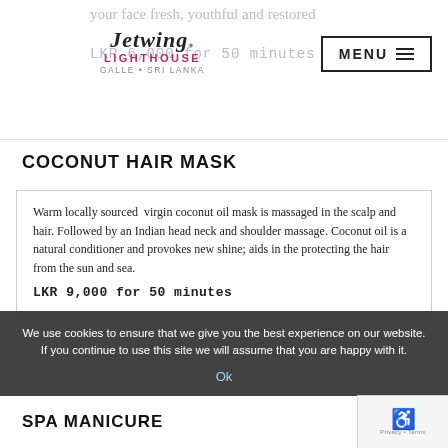Jetwing Lighthouse GALLE · SRI LANKA | your face fresh, youthful and restored | LKR 6,000 for 50 minutes | MENU
COCONUT HAIR MASK
Warm locally sourced  virgin coconut oil mask is massaged in the scalp and hair. Followed by an Indian head neck and shoulder massage. Coconut oil is a natural conditioner and provokes new shine; aids in the protecting the hair from the sun and sea.
LKR 9,000 for 50 minutes
We use cookies to ensure that we give you the best experience on our website. If you continue to use this site we will assume that you are happy with it.
Ok
SPA MANICURE